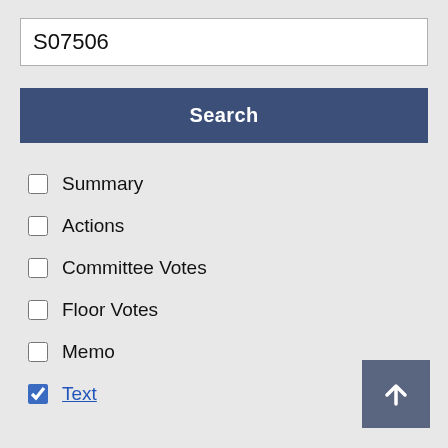S07506
Search
Summary
Actions
Committee Votes
Floor Votes
Memo
Text